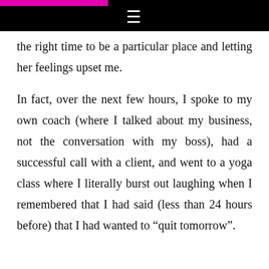≡
the right time to be a particular place and letting her feelings upset me.
In fact, over the next few hours, I spoke to my own coach (where I talked about my business, not the conversation with my boss), had a successful call with a client, and went to a yoga class where I literally burst out laughing when I remembered that I had said (less than 24 hours before) that I had wanted to “quit tomorrow”.